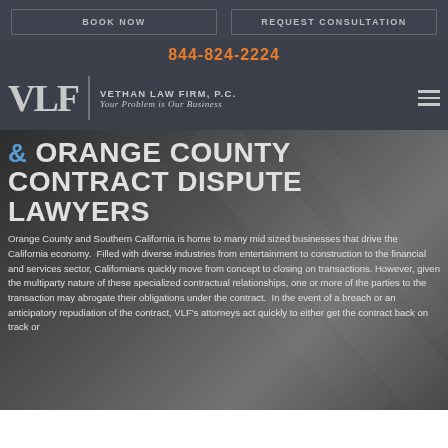BOOK NOW | REQUEST CONSULTATION
844-824-2224
[Figure (logo): VLF Vethan Law Firm, P.C. logo with tagline 'Your Problem is Our Business']
& ORANGE COUNTY CONTRACT DISPUTE LAWYERS
Orange County and Southern California is home to many mid sized businesses that drive the California economy. Filled with diverse industries from entertainment to construction to the financial and services sector, Californians quickly move from concept to closing on transactions. However, given the multiparty nature of these specialized contractual relationships, one or more of the parties to the transaction may abrogate their obligations under the contract. In the event of a breach or an anticipatory repudiation of the contract, VLF's attorneys act quickly to either get the contract back on track or